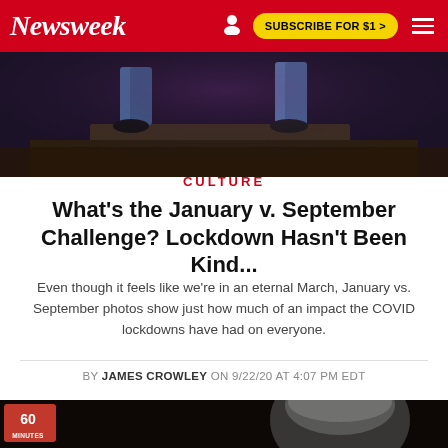Newsweek | SUBSCRIBE FOR $1 >
[Figure (photo): Cropped photo showing legs and sneakers of two people standing on a dark wooden platform or stage, purple/dark ambient lighting]
CULTURE
What's the January v. September Challenge? Lockdown Hasn't Been Kind...
Even though it feels like we're in an eternal March, January vs. September photos show just how much of an impact the COVID lockdowns have had on everyone.
BY JAMES CROWLEY ON 9/22/20 AT 4:07 PM EDT
[Figure (photo): Bottom portion of a dark-background photo showing a person's head with gray hair, small logo overlay reading '60 MINUTES' in top-left corner]